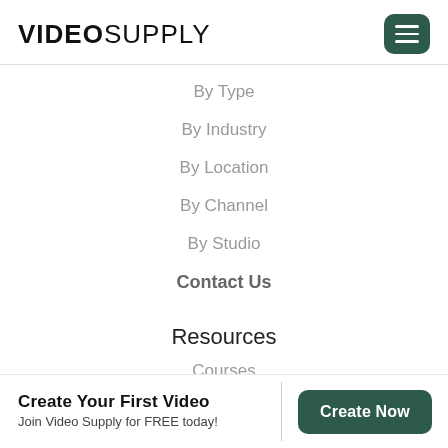VIDEO SUPPLY
By Type
By Industry
By Location
By Channel
By Studio
Contact Us
Resources
Courses
Blog
Create Your First Video
Join Video Supply for FREE today!
Create Now